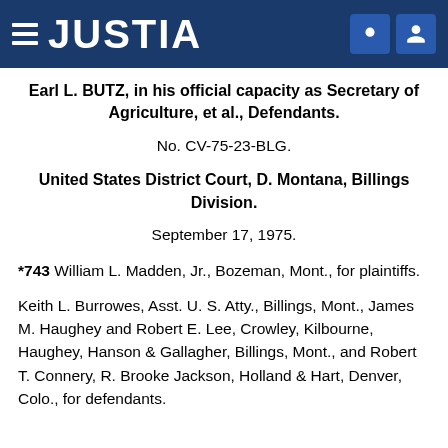JUSTIA
Earl L. BUTZ, in his official capacity as Secretary of Agriculture, et al., Defendants.
No. CV-75-23-BLG.
United States District Court, D. Montana, Billings Division.
September 17, 1975.
*743 William L. Madden, Jr., Bozeman, Mont., for plaintiffs.
Keith L. Burrowes, Asst. U. S. Atty., Billings, Mont., James M. Haughey and Robert E. Lee, Crowley, Kilbourne, Haughey, Hanson & Gallagher, Billings, Mont., and Robert T. Connery, R. Brooke Jackson, Holland & Hart, Denver, Colo., for defendants.